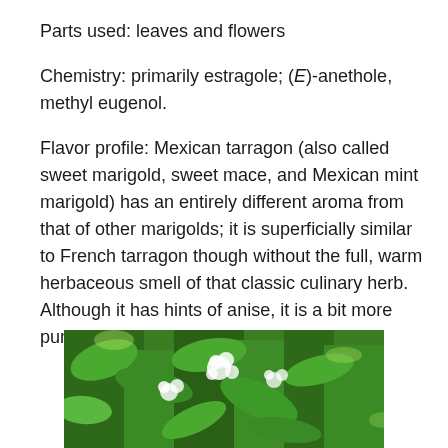Parts used: leaves and flowers
Chemistry: primarily estragole; (E)-anethole, methyl eugenol.
Flavor profile: Mexican tarragon (also called sweet marigold, sweet mace, and Mexican mint marigold) has an entirely different aroma from that of other marigolds; it is superficially similar to French tarragon though without the full, warm herbaceous smell of that classic culinary herb. Although it has hints of anise, it is a bit more pungent with notes of mint.
[Figure (photo): Photo of Mexican tarragon / sweet marigold plant with green leaves and small white flowers]